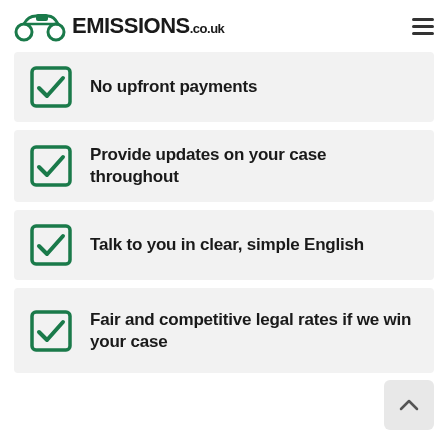EMISSIONS.co.uk
No upfront payments
Provide updates on your case throughout
Talk to you in clear, simple English
Fair and competitive legal rates if we win your case